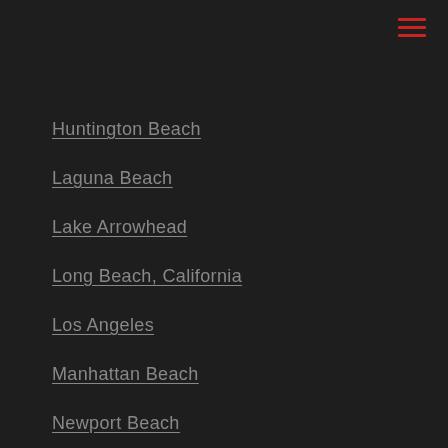Huntington Beach
Laguna Beach
Lake Arrowhead
Long Beach, California
Los Angeles
Manhattan Beach
Newport Beach
Orange County Dining
Palm Springs